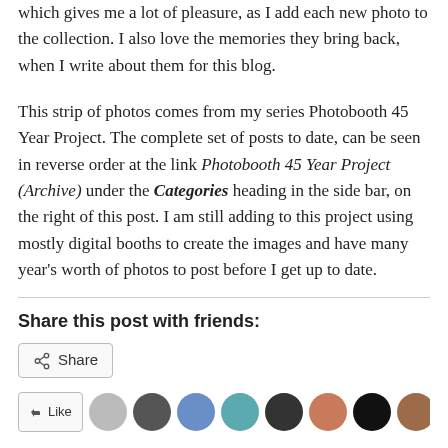which gives me a lot of pleasure, as I add each new photo to the collection. I also love the memories they bring back, when I write about them for this blog.
This strip of photos comes from my series Photobooth 45 Year Project. The complete set of posts to date, can be seen in reverse order at the link Photobooth 45 Year Project (Archive) under the Categories heading in the side bar, on the right of this post. I am still adding to this project using mostly digital booths to create the images and have many year's worth of photos to post before I get up to date.
Share this post with friends:
[Figure (other): Share button with share icon and label 'Share', followed by a row of avatar/profile photo thumbnails and a like button]